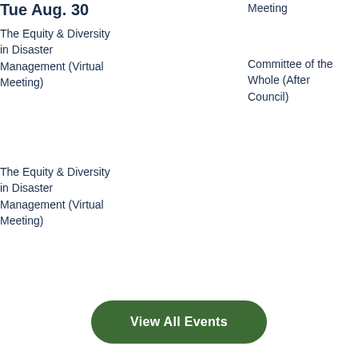Tue Aug. 30
The Equity & Diversity in Disaster Management (Virtual Meeting)
Meeting
Committee of the Whole (After Council)
Zoning Commission Meeting
The Equity & Diversity in Disaster Management (Virtual Meeting)
Mon Sep. 12
Tourism Board Meeting
View All Events